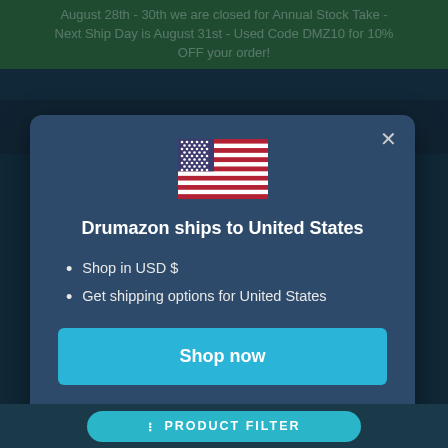August 28th - 30th we are closed for Annual Stock Take - Next Ship Day is August 31st - Used Code DMZ10 for 10% OFF your order!
[Figure (screenshot): US flag emoji / icon centered in modal]
Drumazon ships to United States
Shop in USD $
Get shipping options for United States
Shop now
Change shipping country
PRODUCT FILTER